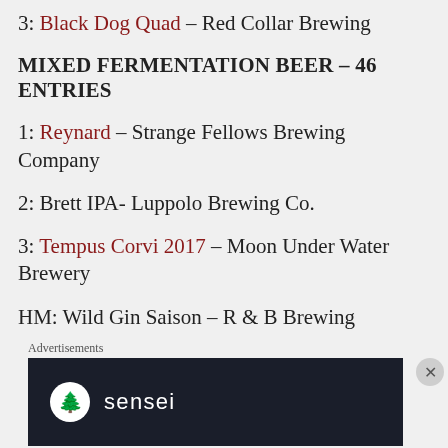3: Black Dog Quad – Red Collar Brewing
MIXED FERMENTATION BEER – 46 ENTRIES
1: Reynard – Strange Fellows Brewing Company
2: Brett IPA- Luppolo Brewing Co.
3: Tempus Corvi 2017 – Moon Under Water Brewery
HM: Wild Gin Saison – R & B Brewing
Advertisements
[Figure (logo): Sensei logo on dark background]
Advertisements
[Figure (screenshot): Day One journaling app advertisement on light blue background]